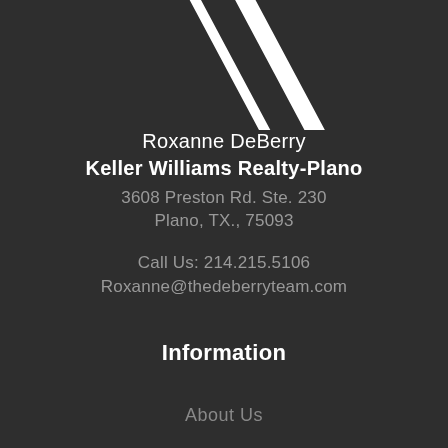[Figure (logo): Keller Williams or DeBerry Team logo graphic with white diagonal lines/slash marks on dark background, partially cropped at top]
Roxanne DeBerry
Keller Williams Realty-Plano
3608 Preston Rd. Ste. 230
Plano, TX., 75093
Call Us: 214.215.5106
Roxanne@thedeberryteam.com
Information
About Us